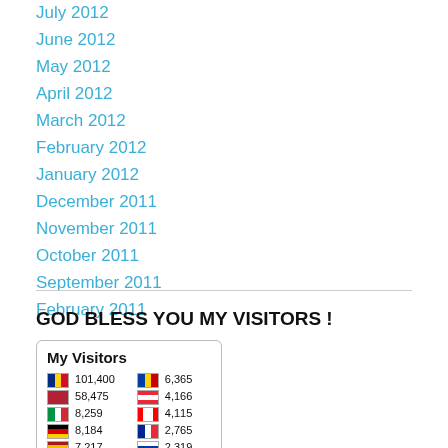July 2012
June 2012
May 2012
April 2012
March 2012
February 2012
January 2012
December 2011
November 2011
October 2011
September 2011
February 2011
GOD BLESS YOU MY VISITORS !
[Figure (infographic): My Visitors widget showing country flags and visitor counts: Romania 101,400 / Moldova 6,365 / USA 58,475 / Austria 4,166 / Italy 8,259 / Canada 4,115 / Germany 8,184 / France 2,765 / Spain 7,217 / Russia 2,319]